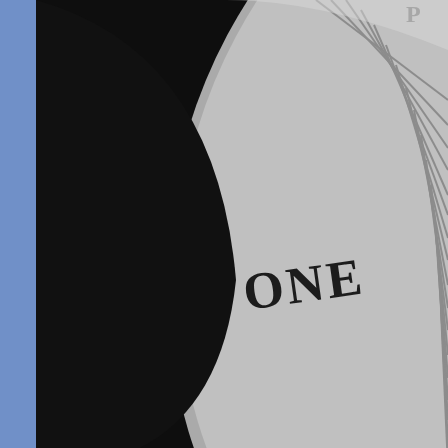[Figure (photo): Close-up photograph of a coin reverse showing eagle wings and the word ONE, dark background, Kennedy Half Dollar error coin]
1973-S Kennedy Half Dollar -- Double Struck PR66â˜... NGC
$9,900.00
[Figure (photo): NGC coin slab label showing: 1973 S 50C / DOUBLE STRUCK / 2ND STRIKE OFF CENTER / MINT ERROR PR66]